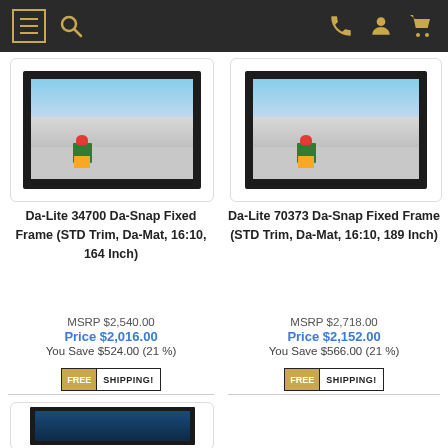Navigation bar with menu, search, phone, account, and cart icons
[Figure (photo): Product image: Da-Lite 34700 Da-Snap Fixed Frame projection screen in black frame, showing snowboarder scene]
Da-Lite 34700 Da-Snap Fixed Frame (STD Trim, Da-Mat, 16:10, 164 Inch)
MSRP $2,540.00
Price $2,016.00
You Save $524.00 (21 %)
[Figure (logo): FREE SHIPPING! badge]
[Figure (photo): Product image: Da-Lite 70373 Da-Snap Fixed Frame projection screen in black frame, showing snowboarder scene]
Da-Lite 70373 Da-Snap Fixed Frame (STD Trim, Da-Mat, 16:10, 189 Inch)
MSRP $2,718.00
Price $2,152.00
You Save $566.00 (21 %)
[Figure (logo): FREE SHIPPING! badge]
[Figure (photo): Third product image partially visible at bottom of page, dark screen with blue content]